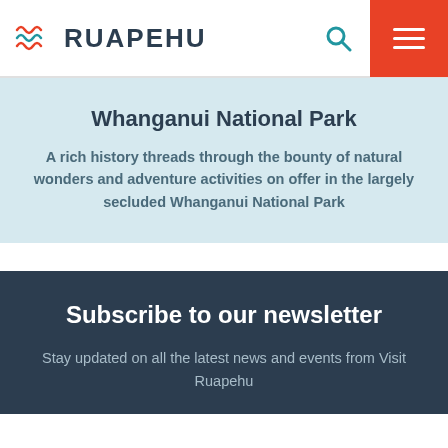RUAPEHU
Whanganui National Park
A rich history threads through the bounty of natural wonders and adventure activities on offer in the largely secluded Whanganui National Park
Subscribe to our newsletter
Stay updated on all the latest news and events from Visit Ruapehu